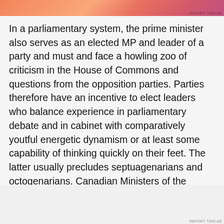[Figure (illustration): Colorful advertisement banner with orange-pink gradient at top of page]
In a parliamentary system, the prime minister also serves as an elected MP and leader of a party and must and face a howling zoo of criticism in the House of Commons and questions from the opposition parties. Parties therefore have an incentive to elect leaders who balance experience in parliamentary debate and in cabinet with comparatively youtful energetic dynamism or at least some capability of thinking quickly on their feet. The latter usually precludes septuagenarians and octogenarians. Canadian Ministers of the Crown tend to occupy their offices between the ages of 40 and 65, a healthy middle age that balances experience with energy.
Advertisements